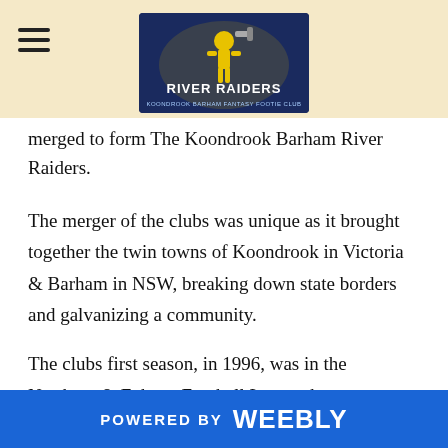[Figure (logo): River Raiders Koondrook Barham Fantasy Football Club logo on dark blue background]
merged to form the Koondrook Barham River Raiders.
The merger of the clubs was unique as it brought together the twin towns of Koondrook in Victoria & Barham in NSW, breaking down state borders and galvanizing a community.
The clubs first season, in 1996, was in the Northern & Echuca Football League however at the end of that season the VCFL decided to wind up the league and, after much consideration, the club chose to enter the Mid Murray Football League. This league originally encompassed the Swan Hill area, but with the participation of Koondrook Barham and our old foes; Leitchville-Gunbower, Cohuna and Kerang, the league
POWERED BY weebly